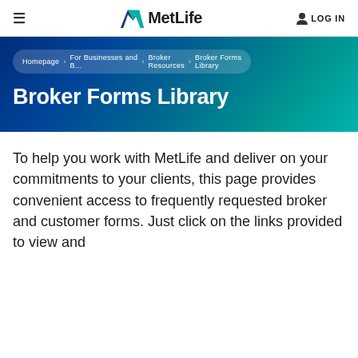MetLife — LOG IN
[Figure (logo): MetLife logo with blue/green chevron icon and bold MetLife wordmark]
Homepage > For Businesses and B... > Broker Resources > Broker Forms Library
Broker Forms Library
To help you work with MetLife and deliver on your commitments to your clients, this page provides convenient access to frequently requested broker and customer forms. Just click on the links provided to view and